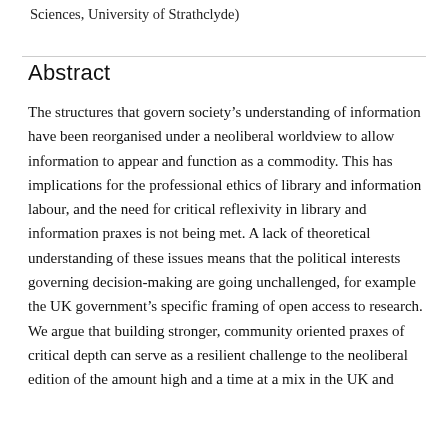Sciences, University of Strathclyde)
Abstract
The structures that govern society’s understanding of information have been reorganised under a neoliberal worldview to allow information to appear and function as a commodity. This has implications for the professional ethics of library and information labour, and the need for critical reflexivity in library and information praxes is not being met. A lack of theoretical understanding of these issues means that the political interests governing decision-making are going unchallenged, for example the UK government’s specific framing of open access to research. We argue that building stronger, community oriented praxes of critical depth can serve as a resilient challenge to the neoliberal edition of the amount high and a time at a mix in the UK and